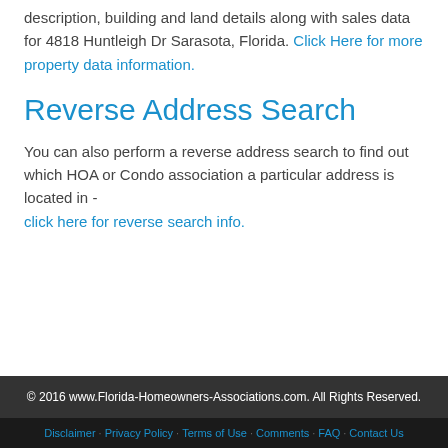description, building and land details along with sales data for 4818 Huntleigh Dr Sarasota, Florida. Click Here for more property data information.
Reverse Address Search
You can also perform a reverse address search to find out which HOA or Condo association a particular address is located in - click here for reverse search info.
© 2016 www.Florida-Homeowners-Associations.com. All Rights Reserved.
Disclaimer | Privacy Policy | Terms of Use | Comments | FAQ | Contact Us